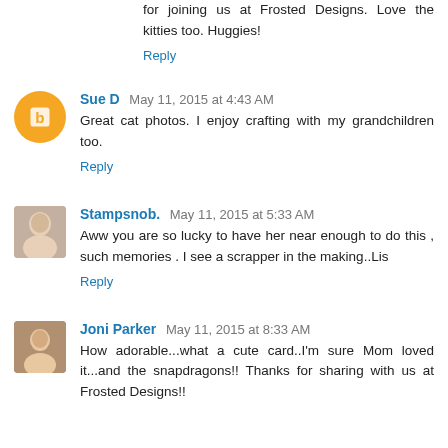for joining us at Frosted Designs. Love the kitties too. Huggies!
Reply
Sue D  May 11, 2015 at 4:43 AM
Great cat photos. I enjoy crafting with my grandchildren too.
Reply
Stampsnob.  May 11, 2015 at 5:33 AM
Aww you are so lucky to have her near enough to do this , such memories . I see a scrapper in the making..Lis
Reply
Joni Parker  May 11, 2015 at 8:33 AM
How adorable...what a cute card..I'm sure Mom loved it...and the snapdragons!! Thanks for sharing with us at Frosted Designs!!